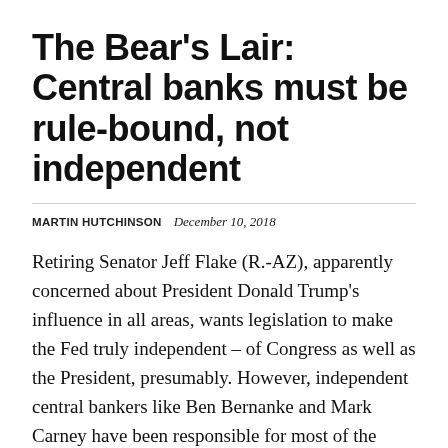The Bear's Lair: Central banks must be rule-bound, not independent
MARTIN HUTCHINSON   December 10, 2018
Retiring Senator Jeff Flake (R.-AZ), apparently concerned about President Donald Trump's influence in all areas, wants legislation to make the Fed truly independent – of Congress as well as the President, presumably. However, independent central bankers like Ben Bernanke and Mark Carney have been responsible for most of the truly lousy monetary policy of the [...]